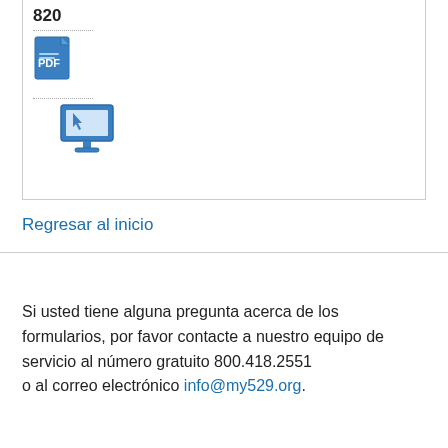820
[Figure (illustration): PDF file icon with blue color]
[Figure (illustration): Computer/screen icon with blue color]
Regresar al inicio
Si usted tiene alguna pregunta acerca de los formularios, por favor contacte a nuestro equipo de servicio al número gratuito 800.418.2551 o al correo electrónico info@my529.org.